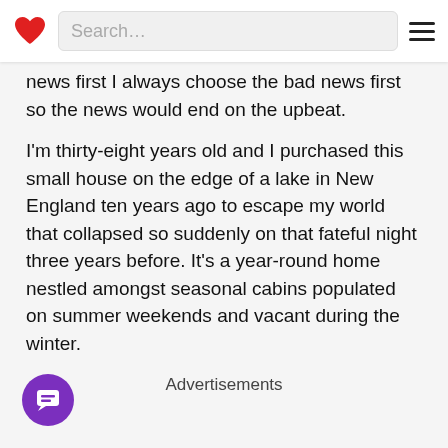Search…
news first I always choose the bad news first so the news would end on the upbeat.
I'm thirty-eight years old and I purchased this small house on the edge of a lake in New England ten years ago to escape my world that collapsed so suddenly on that fateful night three years before. It's a year-round home nestled amongst seasonal cabins populated on summer weekends and vacant during the winter.
Advertisements